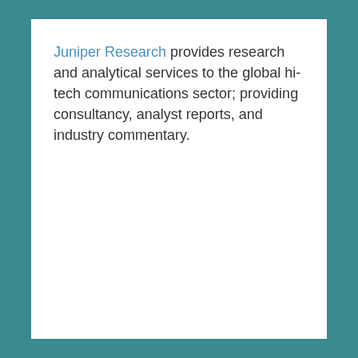Juniper Research provides research and analytical services to the global hi-tech communications sector; providing consultancy, analyst reports, and industry commentary.